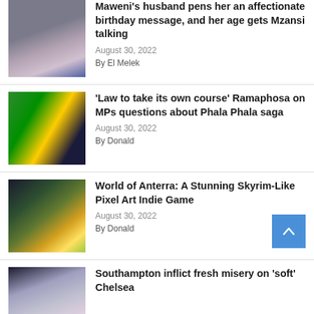[Figure (photo): Two people sitting, appears to be an indoor setting with blue curtains]
Sabelo Mgube is a loverboy: Gogo Maweni's husband pens her an affectionate birthday message, and her age gets Mzansi talking
August 30, 2022
By El Melek
[Figure (photo): Man in a suit in front of South African flag, appearing to be Ramaphosa]
'Law to take its own course' Ramaphosa on MPs questions about Phala Phala saga
August 30, 2022
By Donald
[Figure (photo): Fantasy pixel art landscape with glowing light effects in a forest]
World of Anterra: A Stunning Skyrim-Like Pixel Art Indie Game
August 30, 2022
By Donald
[Figure (photo): Sports action photo, appears to be a football/soccer match]
Southampton inflict fresh misery on 'soft' Chelsea